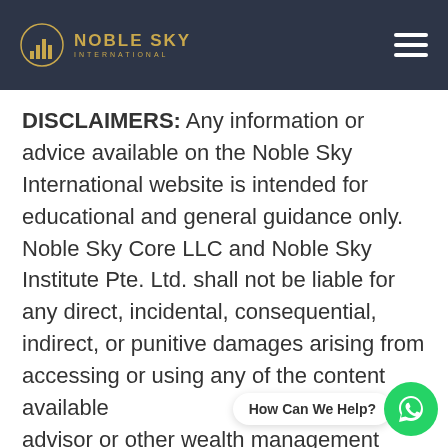[Figure (logo): Noble Sky International logo with gold building/columns icon and text 'NOBLE SKY INTERNATIONAL' on dark navy header bar with hamburger menu icon]
DISCLAIMERS: Any information or advice available on the Noble Sky International website is intended for educational and general guidance only. Noble Sky Core LLC and Noble Sky Institute Pte. Ltd. shall not be liable for any direct, incidental, consequential, indirect, or punitive damages arising from accessing or using any of the content available ... financial advisor or other wealth management...